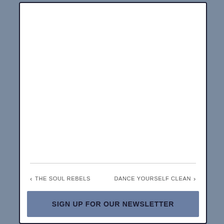‹ THE SOUL REBELS
DANCE YOURSELF CLEAN ›
SIGN UP FOR OUR NEWSLETTER